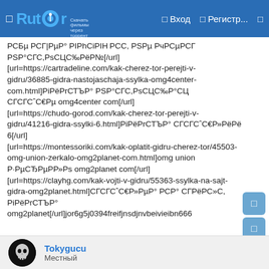Rutor — Вход — Регистр...
РСБµРСГРµР° РІРСіРІРСЇ РСС РІСІ РЅРµРчРСµРСГ
PSP°СГС,РsСЦС‰РёР№[/url]
[url=https://cartradeline.com/kak-cherez-tor-perejti-v-gidru/36885-gidra-nastojaschaja-ssylka-omg4center-com.html]РiРёРrСЂРµ PSP°СГС,РsСЦС‰Р°СЦ СГСГСˆРµРµС€Р° omg4center com[/url]
[url=https://chudo-gorod.com/kak-cherez-tor-perejti-v-gidru/41216-gidra-ssylki-6.html]РiРёРrСЂРµ СГСГСˆС€Р»РµРё 6[/url]
[url=https://montessoriki.com/kak-oplatit-gidru-cherez-tor/45503-omg-union-zerkalo-omg2planet-com.html]omg union Р·РµСЂРµР°Р»Рs omg2planet com[/url]
[url=https://clayhg.com/kak-vojti-v-gidru/55363-ssylka-na-sajt-gidra-omg2planet.html]СГСГСˆС€Р»РµРё РСР° СГРµРС»С, РiРёРrСЂР° omg2planet[/url]jor6g5j0394freifjnsdjnvbeivieibn666
Tokygucu
Местный